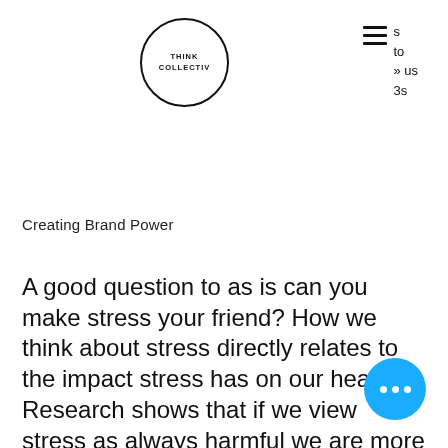[Figure (logo): Think Collectiv logo — circle with text THINK COLLECTIV inside]
s
to
) us
3s
Creating Brand Power
A good question to as is can you make stress your friend? How we think about stress directly relates to the impact stress has on our health. Research shows that if we view stress as always harmful we are more likely to experience health issues related to stress.  The science tell us that when we change the way we think about stress, possibly by acknowledging the positives of level stress in helping us be motivated, or by acknowledging that